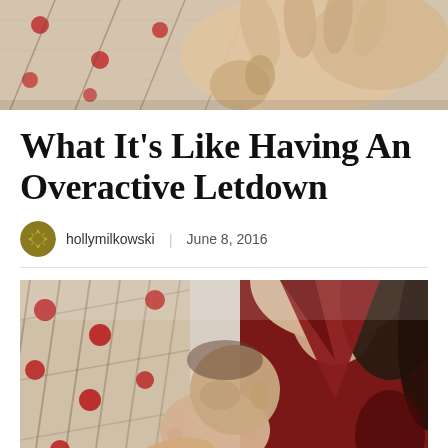[Figure (photo): Close-up photo of hands, partially cropped at top of page]
What It’s Like Having An Overactive Letdown
hollymilkowski  |  June 8, 2016
[Figure (photo): Photo of a woman in a red shirt breastfeeding a newborn baby, with a patterned fabric/nursing pillow visible on the left]